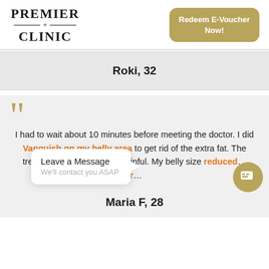[Figure (logo): Premier Clinic logo with star-and-line divider]
Redeem E-Voucher Now!
Roki, 32
I had to wait about 10 minutes before meeting the doctor. I did Vanquish on my belly area to get rid of the extra fat. The treatment itself is ok. Not painful. My belly size redu... tr...
Leave a Message
We'll contact you ASAP
Maria F, 28